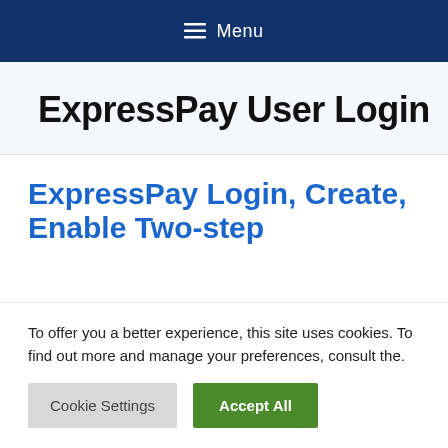≡ Menu
ExpressPay User Login
ExpressPay Login, Create, Enable Two-step
To offer you a better experience, this site uses cookies. To find out more and manage your preferences, consult the.
Cookie Settings | Accept All